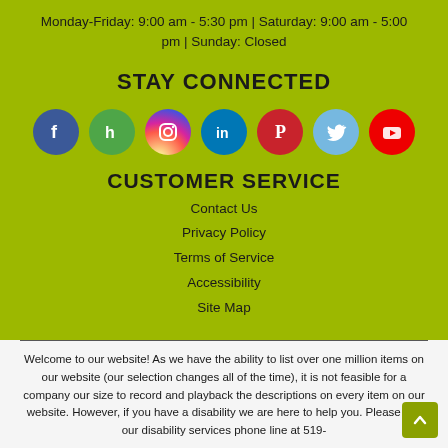Monday-Friday: 9:00 am - 5:30 pm | Saturday: 9:00 am - 5:00 pm | Sunday: Closed
STAY CONNECTED
[Figure (infographic): Row of 7 social media icons: Facebook (blue), Houzz (green), Instagram (gradient), LinkedIn (blue), Pinterest (red), Twitter (light blue), YouTube (red)]
CUSTOMER SERVICE
Contact Us
Privacy Policy
Terms of Service
Accessibility
Site Map
Welcome to our website! As we have the ability to list over one million items on our website (our selection changes all of the time), it is not feasible for a company our size to record and playback the descriptions on every item on our website. However, if you have a disability we are here to help you. Please call our disability services phone line at 519-